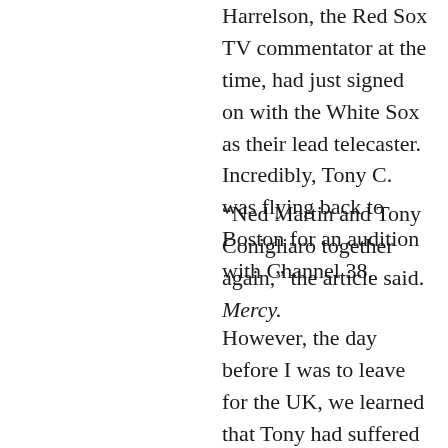Harrelson, the Red Sox TV commentator at the time, had just signed on with the White Sox as their lead telecaster. Incredibly, Tony C. was flying back to Boston for an audition with Channel 38.
“Ned Martin and Tony Conigliaro together again,” the article said. Mercy.
However, the day before I was to leave for the UK, we learned that Tony had suffered a catastrophic heart attack on the way to Logan Airport. Ironically, his tryout as the second Red Sox announcer had so